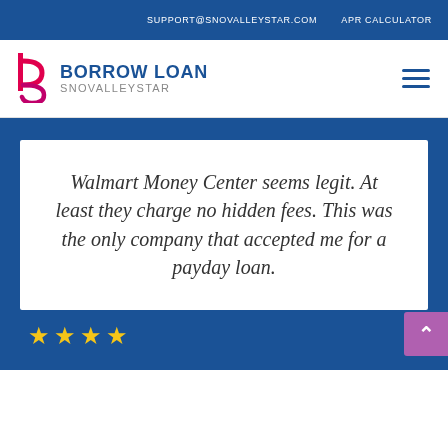SUPPORT@SNOVALLEYSTAR.COM   APR CALCULATOR
[Figure (logo): Borrow Loan Snovalleystar logo with pink/magenta letter B icon and blue bold text BORROW LOAN with grey SNOVALLEYSTAR below]
Walmart Money Center seems legit. At least they charge no hidden fees. This was the only company that accepted me for a payday loan.
[Figure (other): 4 yellow star rating icons]